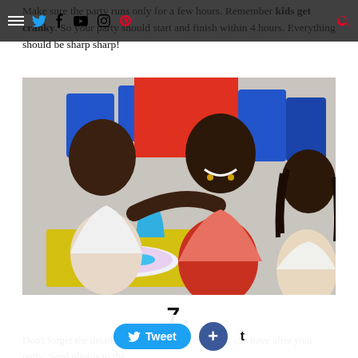Make sure the party runs only for a few hours. Remember kids get cranky. So your party should start and finish within 4 hours. Everything should be sharp sharp!
Navigation bar with hamburger menu, Twitter, Facebook, YouTube, Instagram, Pinterest, Search icons
[Figure (photo): Two young children at a birthday party table. One child in a white dress, one in a coral/pink dress laughing and holding hands. A third child visible on the right. Blue cup and colorful plate on a yellow table. Blue and red chairs in background.]
7.
Don't forget the details: get a photographer so you can have after your party. Send photos to the...
Tweet | + | t